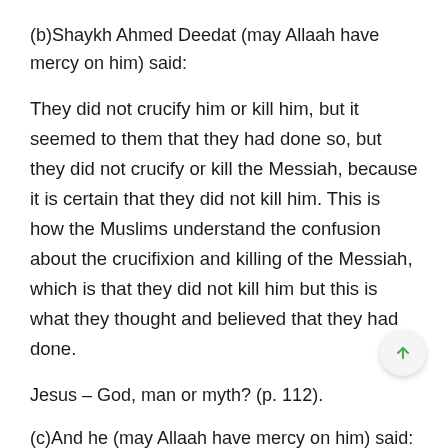(b)Shaykh Ahmed Deedat (may Allaah have mercy on him) said:
They did not crucify him or kill him, but it seemed to them that they had done so, but they did not crucify or kill the Messiah, because it is certain that they did not kill him. This is how the Muslims understand the confusion about the crucifixion and killing of the Messiah, which is that they did not kill him but this is what they thought and believed that they had done.
Jesus – God, man or myth? (p. 112).
(c)And he (may Allaah have mercy on him) said:
The one who was crucified was another person who